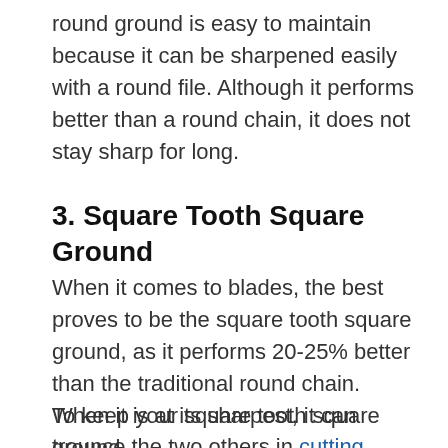round ground is easy to maintain because it can be sharpened easily with a round file. Although it performs better than a round chain, it does not stay sharp for long.
3. Square Tooth Square Ground
When it comes to blades, the best proves to be the square tooth square ground, as it performs 20-25% better than the traditional round chain. When it is at its sharpest, it can trounce the two others in cutting efficiency.
To keep your square tooth square ground